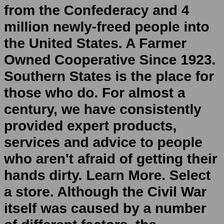from the Confederacy and 4 million newly-freed people into the United States. A Farmer Owned Cooperative Since 1923. Southern States is the place for those who do. For almost a century, we have consistently provided expert products, services and advice to people who aren't afraid of getting their hands dirty. Learn More. Select a store. Although the Civil War itself was caused by a number of different factors, the divergent paths taken in the economic development of North and South contributed to the animosity between the regions, the development of the Confederacy and, ultimately, the victory of the Union. Contrasting Economies. As a nation, the United States was still ... Previous. Next. Digital History ID 2973. The most pressing problems facing the new government were economic. As a result of the revolution, the federal government had acquired a huge debt: $54 million including interest. The states owed another $25 million. Paper money issued under the Continental Congresses and Articles of Confederation was ...It is interesting to note that the